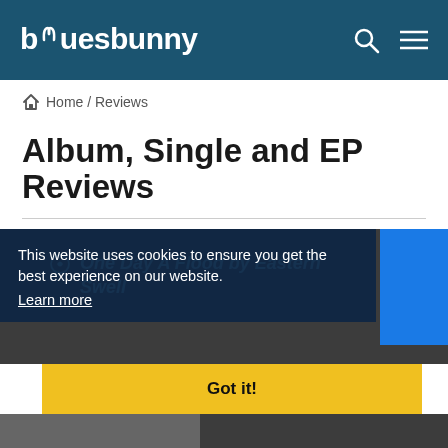bluesbunny
Home / Reviews
Album, Single and EP Reviews
This website uses cookies to ensure you get the best experience on our website.
Learn more
One Day A Flood by Eastern Swell
Got it!
[Figure (screenshot): Bottom strip showing album art thumbnail with text 'THE EASTERN SWELL']